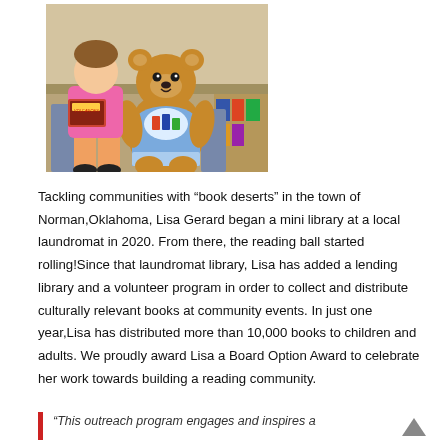[Figure (photo): A child sitting next to a large stuffed teddy bear wearing a blue t-shirt. The child is wearing a pink shirt and holding a book. They are seated in front of what appears to be an outdoor setting with colorful items in the background.]
Tackling communities with “book deserts” in the town of Norman,Oklahoma, Lisa Gerard began a mini library at a local laundromat in 2020. From there, the reading ball started rolling!Since that laundromat library, Lisa has added a lending library and a volunteer program in order to collect and distribute culturally relevant books at community events. In just one year,Lisa has distributed more than 10,000 books to children and adults. We proudly award Lisa a Board Option Award to celebrate her work towards building a reading community.
“This outreach program engages and inspires a